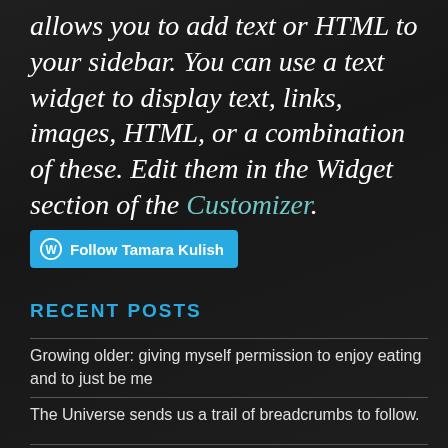allows you to add text or HTML to your sidebar. You can use a text widget to display text, links, images, HTML, or a combination of these. Edit them in the Widget section of the Customizer.
Follow Tamara Kulish
RECENT POSTS
Growing older: giving myself permission to enjoy eating and to just be me
The Universe sends us a trail of breadcrumbs to follow.